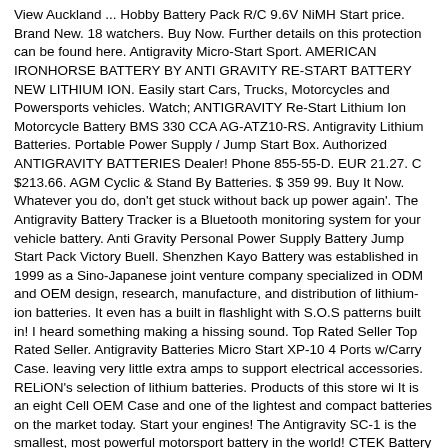View Auckland ... Hobby Battery Pack R/C 9.6V NiMH Start price. Brand New. 18 watchers. Buy Now. Further details on this protection can be found here. Antigravity Micro-Start Sport. AMERICAN IRONHORSE BATTERY BY ANTI GRAVITY RE-START BATTERY NEW LITHIUM ION. Easily start Cars, Trucks, Motorcycles and Powersports vehicles. Watch; ANTIGRAVITY Re-Start Lithium Ion Motorcycle Battery BMS 330 CCA AG-ATZ10-RS. Antigravity Lithium Batteries. Portable Power Supply / Jump Start Box. Authorized ANTIGRAVITY BATTERIES Dealer! Phone 855-55-D. EUR 21.27. C $213.66. AGM Cyclic & Stand By Batteries. $ 359 99. Buy It Now. Whatever you do, don't get stuck without back up power again'. The Antigravity Battery Tracker is a Bluetooth monitoring system for your vehicle battery. Anti Gravity Personal Power Supply Battery Jump Start Pack Victory Buell. Shenzhen Kayo Battery was established in 1999 as a Sino-Japanese joint venture company specialized in ODM and OEM design, research, manufacture, and distribution of lithium-ion batteries. It even has a built in flashlight with S.O.S patterns built in! I heard something making a hissing sound. Top Rated Seller Top Rated Seller. Antigravity Batteries Micro Start XP-10 4 Ports w/Carry Case. leaving very little extra amps to support electrical accessories. RELiON's selection of lithium batteries. Products of this store wi It is an eight Cell OEM Case and one of the lightest and compact batteries on the market today. Start your engines! The Antigravity SC-1 is the smallest, most powerful motorsport battery in the world! CTEK Battery Chargers. C $236.10. ! The factory of Shenzhen Kayo Battery is located in Dongguan, one of the most renowned cities of electronic product manufacturing. The versatile machine features two separate settings: one that charges 12 volt batteries and one for 24 volt batteries